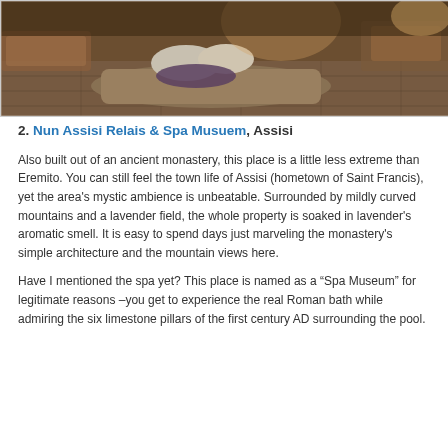[Figure (photo): Interior of an ancient monastery converted to a hotel/spa, showing stone floors, cushioned mattress on the floor with pillows, warm amber lighting, rugs and low furniture in the background.]
2. Nun Assisi Relais & Spa Musuem, Assisi
Also built out of an ancient monastery, this place is a little less extreme than Eremito. You can still feel the town life of Assisi (hometown of Saint Francis), yet the area's mystic ambience is unbeatable. Surrounded by mildly curved mountains and a lavender field, the whole property is soaked in lavender's aromatic smell. It is easy to spend days just marveling the monastery's simple architecture and the mountain views here.
Have I mentioned the spa yet? This place is named as a “Spa Museum” for legitimate reasons –you get to experience the real Roman bath while admiring the six limestone pillars of the first century AD surrounding the pool.